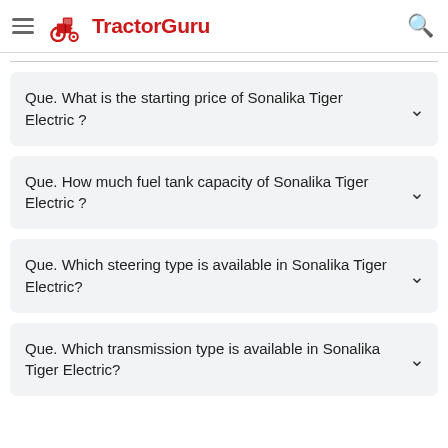TractorGuru
Que. What is the starting price of Sonalika Tiger Electric ?
Que. How much fuel tank capacity of Sonalika Tiger Electric ?
Que. Which steering type is available in Sonalika Tiger Electric?
Que. Which transmission type is available in Sonalika Tiger Electric?